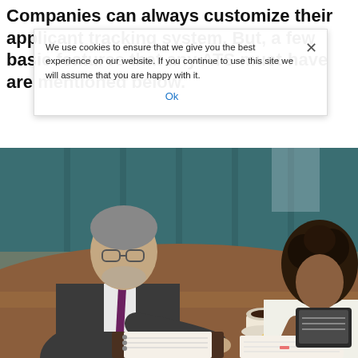Companies can always customize their applicant tracking system. But, a few basic features that any ATS must-have are mentioned below.
[Figure (photo): Two people sitting at a wooden table in a cafe or office setting. A man in a grey suit with a purple tie, wearing glasses, is writing in a planner/notebook. Across the table sits a person with curly hair in a white top also writing. Coffee cups and a tablet device are on the table.]
We use cookies to ensure that we give you the best experience on our website. If you continue to use this site we will assume that you are happy with it.
Ok